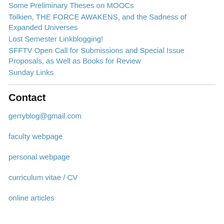Some Preliminary Theses on MOOCs
Tolkien, THE FORCE AWAKENS, and the Sadness of Expanded Universes
Lost Semester Linkblogging!
SFFTV Open Call for Submissions and Special Issue Proposals, as Well as Books for Review
Sunday Links
Contact
gerryblog@gmail.com
faculty webpage
personal webpage
curriculum vitae / CV
online articles